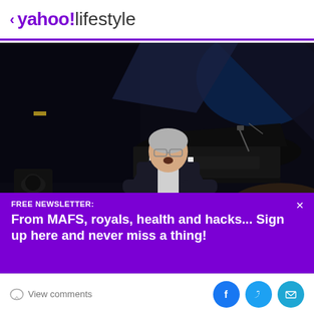< yahoo!lifestyle
[Figure (photo): Performer playing grand piano on stage, dark background with blue stage lighting, wearing glasses and dark jacket]
FREE NEWSLETTER: From MAFS, royals, health and hacks... Sign up here and never miss a thing!
View comments